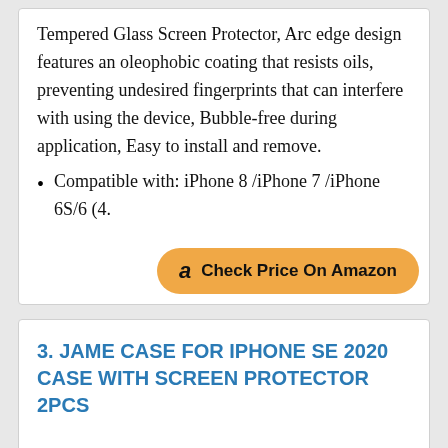Tempered Glass Screen Protector, Arc edge design features an oleophobic coating that resists oils, preventing undesired fingerprints that can interfere with using the device, Bubble-free during application, Easy to install and remove.
Compatible with: iPhone 8 /iPhone 7 /iPhone 6S/6 (4.
[Figure (other): Check Price On Amazon button with Amazon logo]
3. JAME CASE FOR IPHONE SE 2020 CASE WITH SCREEN PROTECTOR 2PCS
[Figure (photo): Product photo of a phone case for iPhone SE 2020]